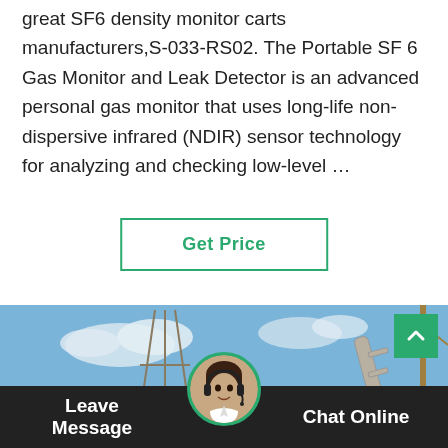great SF6 density monitor carts manufacturers,S-033-RS02. The Portable SF 6 Gas Monitor and Leak Detector is an advanced personal gas monitor that uses long-life non-dispersive infrared (NDIR) sensor technology for analyzing and checking low-level …
Get Price
[Figure (photo): Outdoor electrical substation with a yellow SF6 service truck, high-voltage equipment, insulators, and transmission towers in the background under a blue sky.]
Leave Message   Chat Online